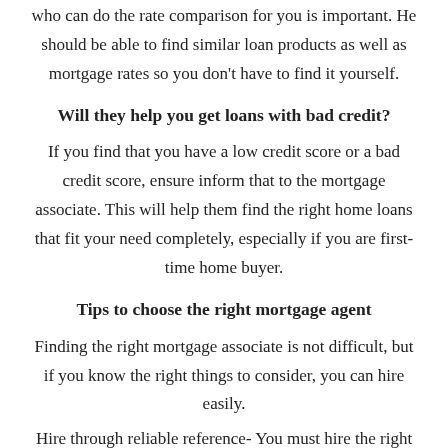who can do the rate comparison for you is important. He should be able to find similar loan products as well as mortgage rates so you don't have to find it yourself.
Will they help you get loans with bad credit?
If you find that you have a low credit score or a bad credit score, ensure inform that to the mortgage associate. This will help them find the right home loans that fit your need completely, especially if you are first-time home buyer.
Tips to choose the right mortgage agent
Finding the right mortgage associate is not difficult, but if you know the right things to consider, you can hire easily.
Hire through reliable reference- You must hire the right agent from people who you know. For instance, you can trust your friend or relative. But if your neighbor or a friend of friend is suggesting you an agent, take proper considerations.